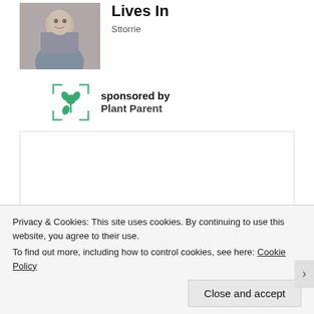[Figure (photo): Thumbnail photo of a woman]
Lives In
Sttorrie
sponsored by Plant Parent
[Figure (logo): Plant Parent logo with green flower icon and corner brackets]
[Figure (other): Advertisement placeholder box]
Privacy & Cookies: This site uses cookies. By continuing to use this website, you agree to their use.
To find out more, including how to control cookies, see here: Cookie Policy
Close and accept